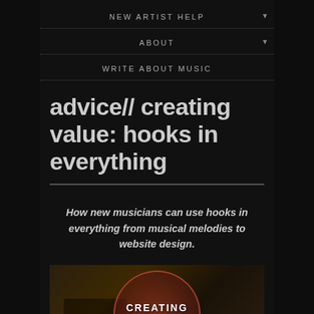NEW ARTIST HELP
ABOUT
WRITE ABOUT MUSIC
advice// creating value: hooks in everything
How new musicians can use hooks in everything from musical melodies to website design.
[Figure (photo): Circular badge/logo with the text CREATING VALUE: overlaid on a blurred warm-toned background image showing a dark figure scene]